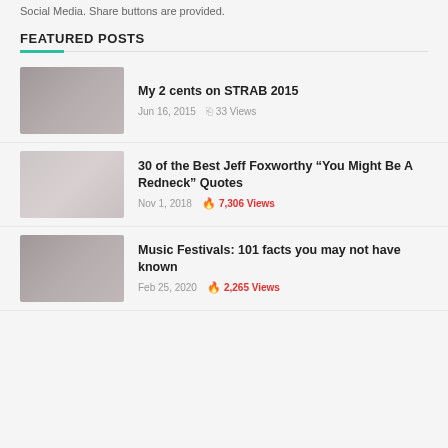Social Media. Share buttons are provided.
FEATURED POSTS
My 2 cents on STRAB 2015 — Jun 16, 2015 — 33 Views
30 of the Best Jeff Foxworthy "You Might Be A Redneck" Quotes — Nov 1, 2018 — 7,306 Views
Music Festivals: 101 facts you may not have known — Feb 25, 2020 — 2,265 Views